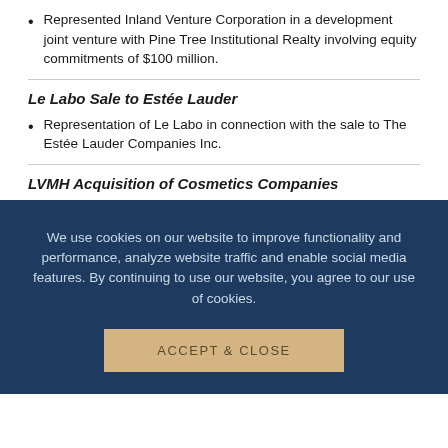Represented Inland Venture Corporation in a development joint venture with Pine Tree Institutional Realty involving equity commitments of $100 million.
Le Labo Sale to Estée Lauder
Representation of Le Labo in connection with the sale to The Estée Lauder Companies Inc.
LVMH Acquisition of Cosmetics Companies
We use cookies on our website to improve functionality and performance, analyze website traffic and enable social media features. By continuing to use our website, you agree to our use of cookies.
ACCEPT & CLOSE